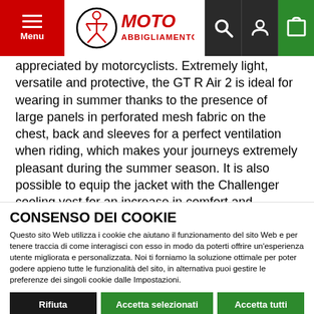MOTO ABBIGLIAMENTO.IT - Menu, Search, Account, Cart
appreciated by motorcyclists. Extremely light, versatile and protective, the GT R Air 2 is ideal for wearing in summer thanks to the presence of large panels in perforated mesh fabric on the chest, back and sleeves for a perfect ventilation when riding, which makes your journeys extremely pleasant during the summer season. It is also possible to equip the jacket with the Challenger cooling vest for an increase in comfort and freshness
CONSENSO DEI COOKIE
Questo sito Web utilizza i cookie che aiutano il funzionamento del sito Web e per tenere traccia di come interagisci con esso in modo da poterti offrire un'esperienza utente migliorata e personalizzata. Noi ti forniamo la soluzione ottimale per poter godere appieno tutte le funzionalità del sito, in alternativa puoi gestire le preferenze dei singoli cookie dalle Impostazioni.
Rifiuta | Accetta selezionati | Accetta tutti
Necessari (checked) | Funzionale (checked) | Analytics (checked) | Advertisement (unchecked) | Mostra dettagli